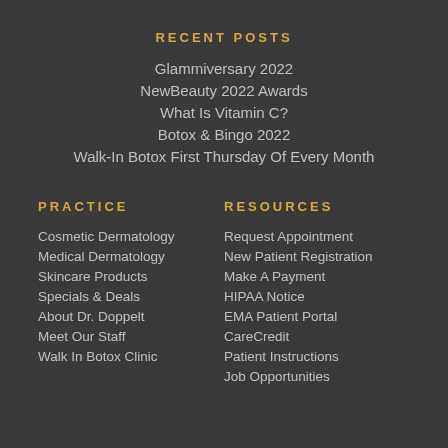RECENT POSTS
Glammiversary 2022
NewBeauty 2022 Awards
What Is Vitamin C?
Botox & Bingo 2022
Walk-In Botox First Thursday Of Every Month
PRACTICE
Cosmetic Dermatology
Medical Dermatology
Skincare Products
Specials & Deals
About Dr. Doppelt
Meet Our Staff
Walk In Botox Clinic
RESOURCES
Request Appointment
New Patient Registration
Make A Payment
HIPAA Notice
EMA Patient Portal
CareCredit
Patient Instructions
Job Opportunities